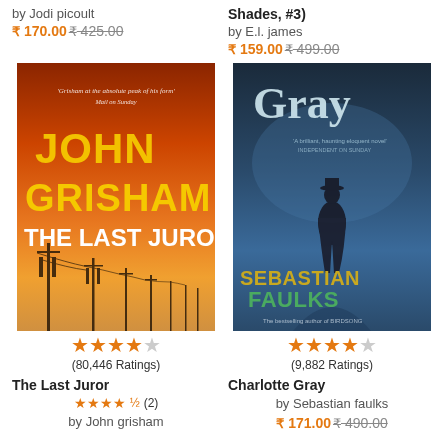by Jodi picoult
₹ 170.00 ₹ 425.00
Shades, #3)
by E.l. james
₹ 159.00 ₹ 499.00
[Figure (photo): Book cover of The Last Juror by John Grisham - orange/amber sunset background with power line poles silhouetted, yellow title text]
[Figure (photo): Book cover of Charlotte Gray by Sebastian Faulks - dark blue/grey moody scene with lone figure, large 'Gray' text at top]
★★★★☆ (80,446 Ratings)
★★★★☆ (9,882 Ratings)
The Last Juror
★★★★½ (2)
by John grisham
Charlotte Gray
by Sebastian faulks
₹ 171.00 ₹ 490.00